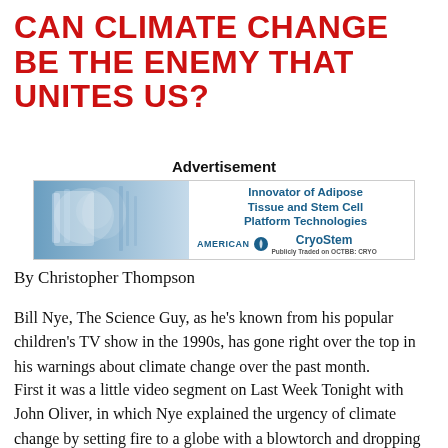CAN CLIMATE CHANGE BE THE ENEMY THAT UNITES US?
[Figure (other): Advertisement banner for American CryoStem - Innovator of Adipose Tissue and Stem Cell Platform Technologies, Publicly Traded on OCTBB: CRYO]
By Christopher Thompson
Bill Nye, The Science Guy, as he's known from his popular children's TV show in the 1990s, has gone right over the top in his warnings about climate change over the past month.
First it was a little video segment on Last Week Tonight with John Oliver, in which Nye explained the urgency of climate change by setting fire to a globe with a blowtorch and dropping the f-bomb — "the planet is on f—ing fire!"